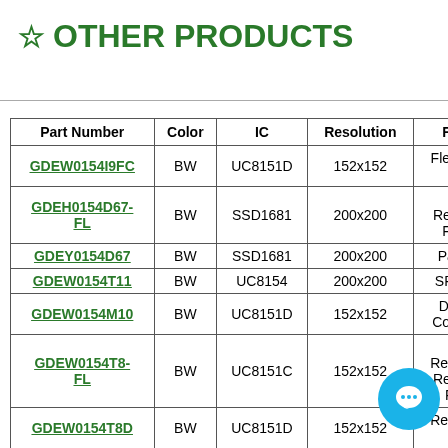☆ OTHER PRODUCTS
| Part Number | Color | IC | Resolution | Features |
| --- | --- | --- | --- | --- |
| GDEW0154I9FC | BW | UC8151D | 152x152 | Flexible, Part Refresh |
| GDEH0154D67-FL | BW | SSD1681 | 200x200 | Partial Refresh, With Frontlight |
| GDEY0154D67 | BW | SSD1681 | 200x200 | Partial Refresh |
| GDEW0154T11 | BW | UC8154 | 200x200 | SPI Interface |
| GDEW0154M10 | BW | UC8151D | 152x152 | DES, High Contrast Ratio |
| GDEW0154T8-FL | BW | UC8151C | 152x152 | Fast Refresh, Part Refresh, With Frontlight |
| GDEW0154T8D | BW | UC8151D | 152x152 | Refresh, Part Refresh |